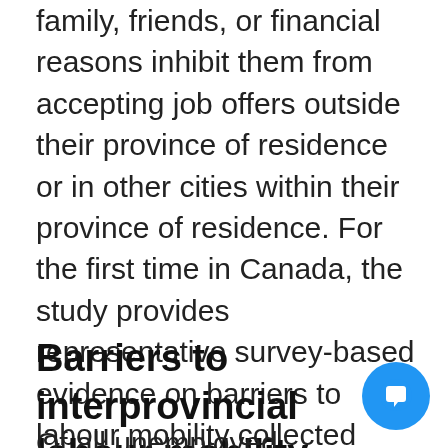family, friends, or financial reasons inhibit them from accepting job offers outside their province of residence or in other cities within their province of residence. For the first time in Canada, the study provides representative survey-based evidence on barriers to labour mobility collected directly from unemployed individuals. [4] The study focuses on unemployed individuals aged 15 to 64 who are not students.
Barriers to interprovincial labour mobility
Of all unemployed individuals aged 15 to 64...